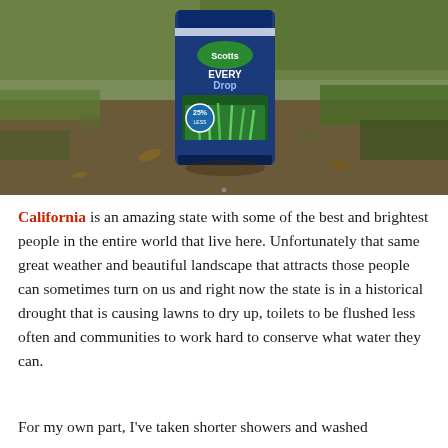[Figure (photo): A blue bag of Scotts EveryDrop lawn product sitting on sparse, dry grass and bare dirt in outdoor sunlight. The bag is navy blue with green grass imagery and shows '25%' prominently.]
California is an amazing state with some of the best and brightest people in the entire world that live here. Unfortunately that same great weather and beautiful landscape that attracts those people can sometimes turn on us and right now the state is in a historical drought that is causing lawns to dry up, toilets to be flushed less often and communities to work hard to conserve what water they can.
For my own part, I've taken shorter showers and washed the car less often and now apparently...